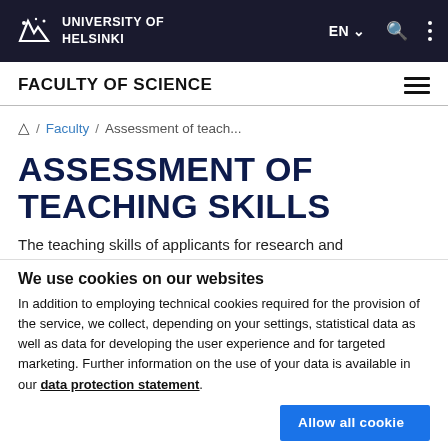UNIVERSITY OF HELSINKI
FACULTY OF SCIENCE
/ Faculty / Assessment of teach...
ASSESSMENT OF TEACHING SKILLS
The teaching skills of applicants for research and
We use cookies on our websites
In addition to employing technical cookies required for the provision of the service, we collect, depending on your settings, statistical data as well as data for developing the user experience and for targeted marketing. Further information on the use of your data is available in our data protection statement.
Allow all cookies